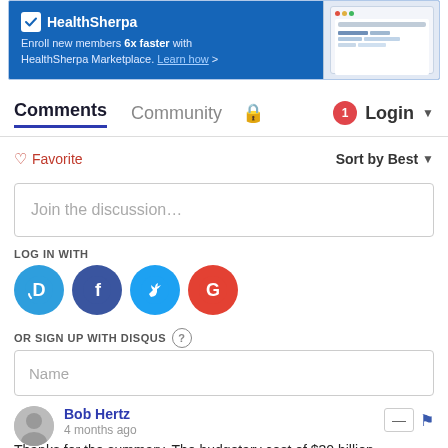[Figure (screenshot): HealthSherpa advertisement banner with blue background, logo, text 'Enroll new members 6x faster with HealthSherpa Marketplace. Learn how >' and a screenshot of the application on the right]
Comments   Community   🔒   1   Login ▾
♡ Favorite   Sort by Best ▾
Join the discussion…
LOG IN WITH
[Figure (logo): Social login icons: Disqus (blue D), Facebook (dark blue F), Twitter (light blue bird), Google (red G)]
OR SIGN UP WITH DISQUS ?
Name
Bob Hertz
4 months ago
Thanks for the summary. The budgetary cost of $30 billion